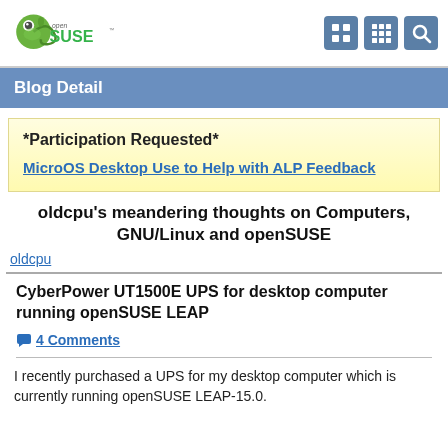openSUSE logo and navigation icons
Blog Detail
*Participation Requested*
MicroOS Desktop Use to Help with ALP Feedback
oldcpu's meandering thoughts on Computers, GNU/Linux and openSUSE
oldcpu
CyberPower UT1500E UPS for desktop computer running openSUSE LEAP
4 Comments
I recently purchased a UPS for my desktop computer which is currently running openSUSE LEAP-15.0.